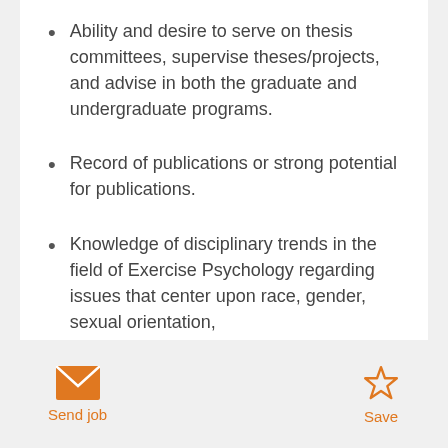Ability and desire to serve on thesis committees, supervise theses/projects, and advise in both the graduate and undergraduate programs.
Record of publications or strong potential for publications.
Knowledge of disciplinary trends in the field of Exercise Psychology regarding issues that center upon race, gender, sexual orientation, immigration, and underserved communities
Send job   Save